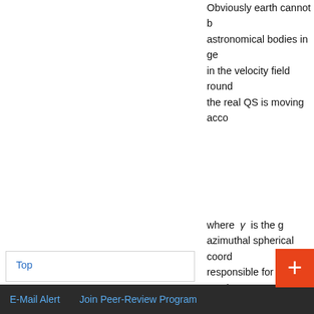Obviously earth cannot b... astronomical bodies in ge... in the velocity field round... the real QS is moving acco...
where γ is the g... azimuthal spherical coord... responsible for the gravita... has been shown in Refere... naturally explain all the of... rate of the clocks. ... Michelson light ani... matter concentratio...
The disk-shape st...
Top
ABSTRACT
Introduction
The Higgs Condensate as a Real Quantum Space, Ruling the Inertial Motion of Matter and the Propagation of Light
E-Mail Alert   Join Peer-Review Program